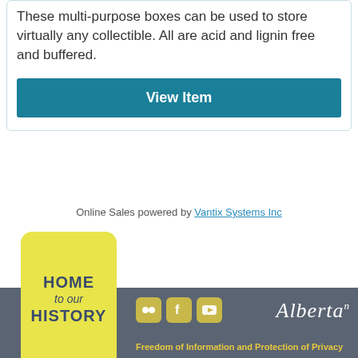These multi-purpose boxes can be used to store virtually any collectible. All are acid and lignin free and buffered.
View Item
Online Sales powered by Vantix Systems Inc
[Figure (logo): Yellow rounded badge with text HOME to our HISTORY in dark blue]
[Figure (logo): Social media icons: Flickr, Facebook, YouTube in yellow rounded squares]
[Figure (logo): Alberta government logo in white italic script]
Freedom of Information and Protection of Privacy